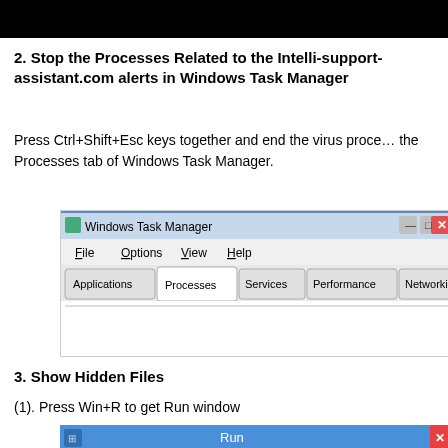[Figure (screenshot): Black header bar at top of page]
2. Stop the Processes Related to the Intelli-support-assistant.com alerts in Windows Task Manager
Press Ctrl+Shift+Esc keys together and end the virus process in the Processes tab of Windows Task Manager.
[Figure (screenshot): Windows Task Manager window showing tabs: Applications, Processes (selected), Services, Performance, Networking, Users. Menu bar shows File, Options, View, Help.]
3. Show Hidden Files
(1). Press Win+R to get Run window
[Figure (screenshot): Run dialog window with blue title bar showing 'Run' text]